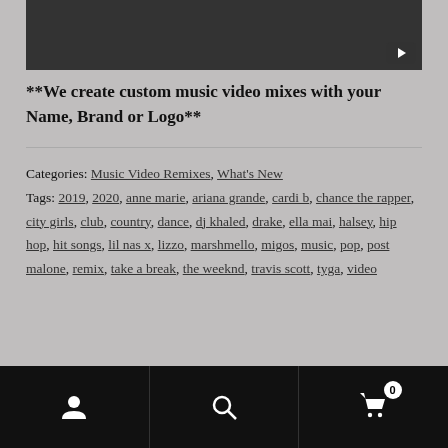[Figure (screenshot): Dark video thumbnail with YouTube play button in bottom-right corner]
**We create custom music video mixes with your Name, Brand or Logo**
Categories: Music Video Remixes, What's New
Tags: 2019, 2020, anne marie, ariana grande, cardi b, chance the rapper, city girls, club, country, dance, dj khaled, drake, ella mai, halsey, hip hop, hit songs, lil nas x, lizzo, marshmello, migos, music, pop, post malone, remix, take a break, the weeknd, travis scott, tyga, video
[Figure (screenshot): Bottom navigation bar with person/account icon, search icon, and shopping cart icon with badge showing 0]